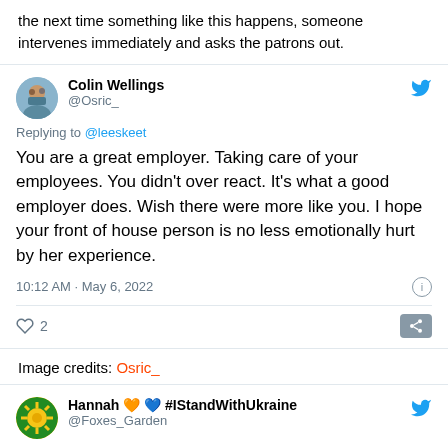the next time something like this happens, someone intervenes immediately and asks the patrons out.
[Figure (screenshot): Tweet from Colin Wellings (@Osric_) replying to @leeskeet: 'You are a great employer. Taking care of your employees. You didn't over react. It's what a good employer does. Wish there were more like you. I hope your front of house person is no less emotionally hurt by her experience.' Posted 10:12 AM · May 6, 2022. 2 likes.]
Image credits: Osric_
[Figure (screenshot): Tweet from Hannah 🧡 💙 #IStandWithUkraine (@Foxes_Garden) replying to @leeskeet]